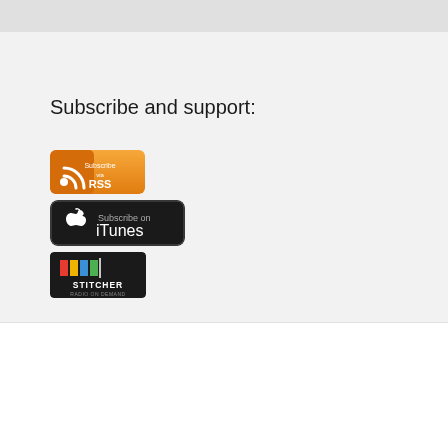Subscribe and support:
[Figure (logo): RSS subscribe badge — orange background with RSS icon and text 'Subscribe via RSS']
[Figure (logo): iTunes Subscribe on iTunes badge — black background with Apple logo and text 'Subscribe on iTunes']
[Figure (logo): Stitcher podcast badge — black/white background with colored bar and 'STITCHER' text]
We use cookies on our website to give you the most relevant experience by remembering your preferences and repeat visits. By clicking “Accept”, you consent to the use of ALL the cookies.
Cookie settings  ACCEPT